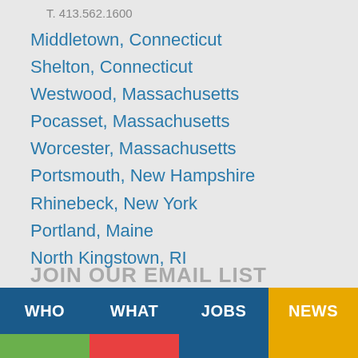T. 413.562.1600
Middletown, Connecticut
Shelton, Connecticut
Westwood, Massachusetts
Pocasset, Massachusetts
Worcester, Massachusetts
Portsmouth, New Hampshire
Rhinebeck, New York
Portland, Maine
North Kingstown, RI
JOIN OUR EMAIL LIST
WHO   WHAT   JOBS   NEWS